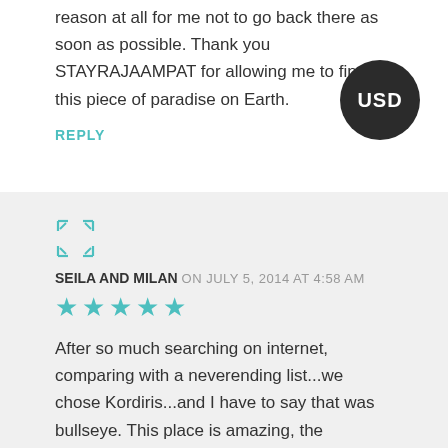reason at all for me not to go back there as soon as possible. Thank you STAYRAJAAMPAT for allowing me to find this piece of paradise on Earth.
REPLY
[Figure (other): USD badge - dark circular badge with USD text]
[Figure (other): Avatar icon showing expand/resize arrows symbol]
SEILA AND MILAN ON JULY 5, 2014 AT 4:58 AM
[Figure (other): Five teal/cyan star rating icons]
After so much searching on internet, comparing with a neverending list...we chose Kordiris...and I have to say that was bullseye. This place is amazing, the snorkeling, the food....and Maria is a delightfull person...super helpful and is always happy. We also would like to mention John Terminal from